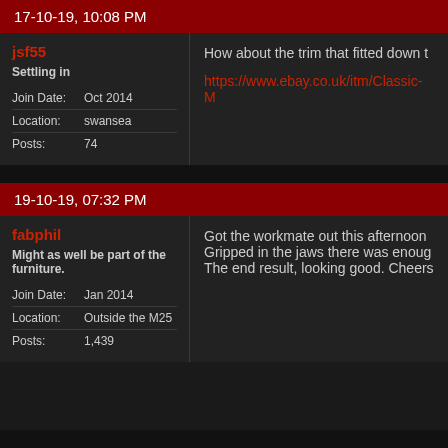17-10-19, 10:08 PM
jsf55
Settling in
| Join Date: | Oct 2014 |
| Location: | swansea |
| Posts: | 74 |
How about the trim that fitted down t
https://www.ebay.co.uk/itm/Classic-M
19-10-19, 07:32 PM
fabphil
Might as well be part of the furniture.
| Join Date: | Jan 2014 |
| Location: | Outside the M25 |
| Posts: | 1,439 |
Got the workmate out this afternoon Gripped in the jaws there was enough The end result, looking good. Cheers